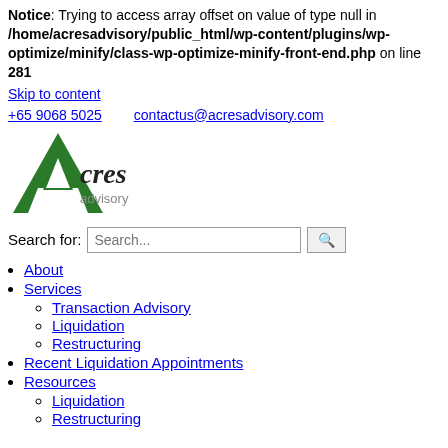Notice: Trying to access array offset on value of type null in /home/acresadvisory/public_html/wp-content/plugins/wp-optimize/minify/class-wp-optimize-minify-front-end.php on line 281
Skip to content
+65 9068 5025    contactus@acresadvisory.com
[Figure (logo): Acres Advisory logo with large green A and 'cres advisory' text]
Search for:
About
Services
Transaction Advisory
Liquidation
Restructuring
Recent Liquidation Appointments
Resources
Liquidation
Restructuring